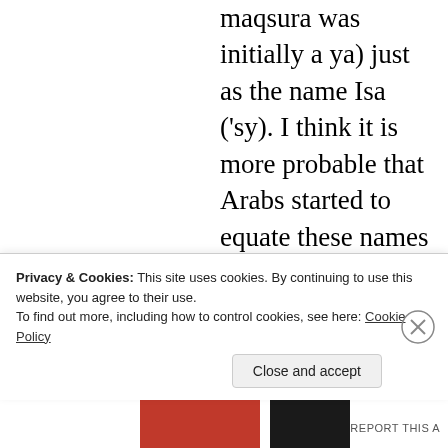maqsura was initially a ya) just as the name Isa ('sy). I think it is more probable that Arabs started to equate these names with Yeshua and Johanan, whereas one might ask: why? Well, there's no doubt that their names were Johanan ad Jeshua. There is no evidence for double names afaik. Regarding Yahya being a completely
Privacy & Cookies: This site uses cookies. By continuing to use this website, you agree to their use.
To find out more, including how to control cookies, see here: Cookie Policy
Close and accept